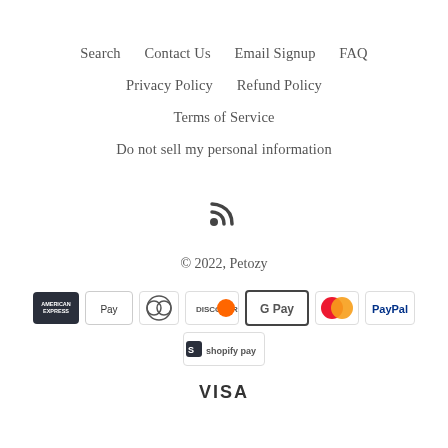Search    Contact Us    Email Signup    FAQ
Privacy Policy    Refund Policy
Terms of Service
Do not sell my personal information
[Figure (illustration): RSS feed icon]
© 2022, Petozy
[Figure (illustration): Payment method icons: American Express, Apple Pay, Diners Club, Discover, Google Pay, Mastercard, PayPal, Shopify Pay, Visa]